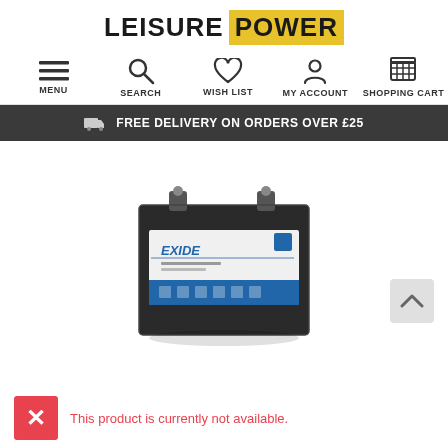[Figure (logo): Leisure Power logo — 'LEISURE' in bold black, 'POWER' in bold black on yellow/gold background]
[Figure (infographic): Navigation bar with icons: MENU (hamburger), SEARCH (magnifying glass), WISH LIST (heart), MY ACCOUNT (person), SHOPPING CART (basket)]
FREE DELIVERY ON ORDERS OVER £25
[Figure (photo): Exide brand battery, black rectangular battery with blue and white label showing 'EXIDE', positioned at a slight angle]
This product is currently not available.